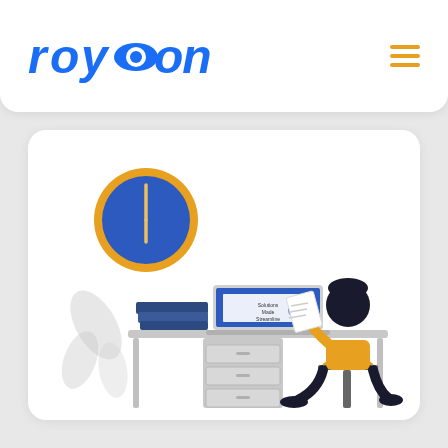roycon
[Figure (illustration): Illustration of a person sitting at a desk working on a laptop with a clock on the wall above, books stacked on the desk, a filing cabinet underneath, and a plant decoration in the background]